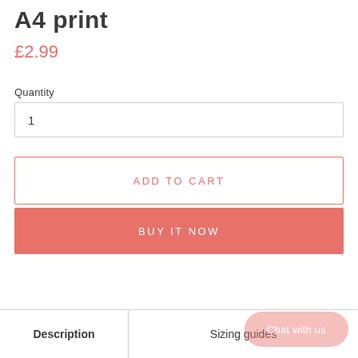A4 print
£2.99
Quantity
1
ADD TO CART
BUY IT NOW
Description
Sizing guides
Chat with us